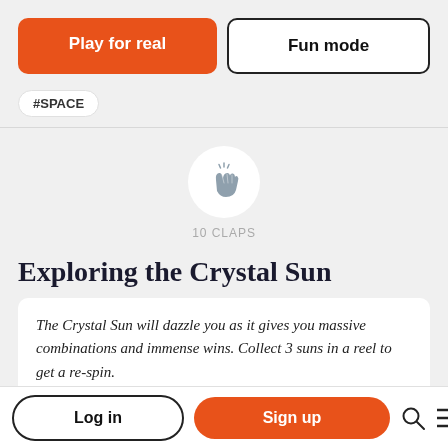Play for real
Fun mode
#SPACE
[Figure (illustration): Clapping hands icon inside a white circle]
10 CLAPS
Exploring the Crystal Sun
The Crystal Sun will dazzle you as it gives you massive combinations and immense wins. Collect 3 suns in a reel to get a re-spin.
The Crystal Sun is here to give you big wins. The colourful suns can each give you generous rewards. The Triple 7s and Triple Diamonds are your best bet to get massive winning combinations. The
Log in
Sign up